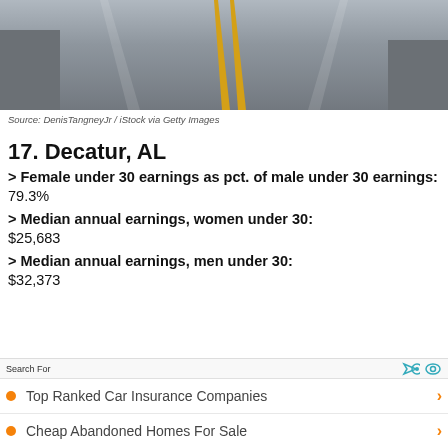[Figure (photo): Aerial view of an empty road with yellow center lines stretching into the distance]
Source: DenisTangneyJr / iStock via Getty Images
17. Decatur, AL
> Female under 30 earnings as pct. of male under 30 earnings: 79.3%
> Median annual earnings, women under 30: $25,683
> Median annual earnings, men under 30: $32,373
Search For
Top Ranked Car Insurance Companies
Cheap Abandoned Homes For Sale